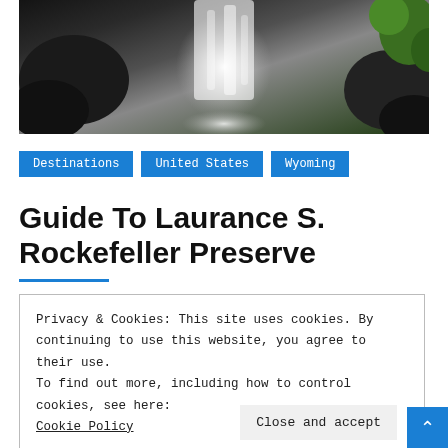[Figure (photo): Waterfall cascading over dark rocks with green moss, white rushing water with dark rocky surroundings]
Destinations   United States   Wyoming
Guide To Laurance S. Rockefeller Preserve
Privacy & Cookies: This site uses cookies. By continuing to use this website, you agree to their use.
To find out more, including how to control cookies, see here:
Cookie Policy
Close and accept